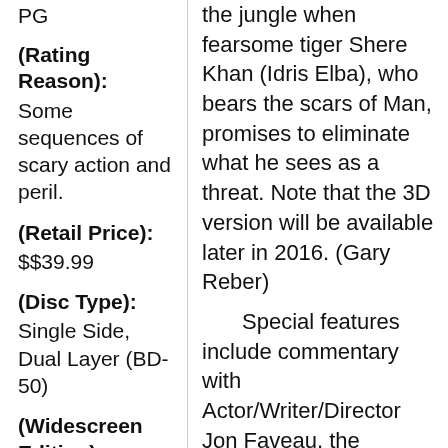PG
(Rating Reason): Some sequences of scary action and peril.
(Retail Price): $$39.99
(Disc Type): Single Side, Dual Layer (BD-50)
(Widescreen Edition): Yes
(Full S...
the jungle when fearsome tiger Shere Khan (Idris Elba), who bears the scars of Man, promises to eliminate what he sees as a threat. Note that the 3D version will be available later in 2016. (Gary Reber)
Special features include commentary with Actor/Writer/Director Jon Faveau, the featurettes The Jungle Book Reimagined (HD 35:02), I Am Mowgli (HD 08:18), and King Louie’s Temple: Layer By Layer (HD 03:14), upfront previews and a digital copy.